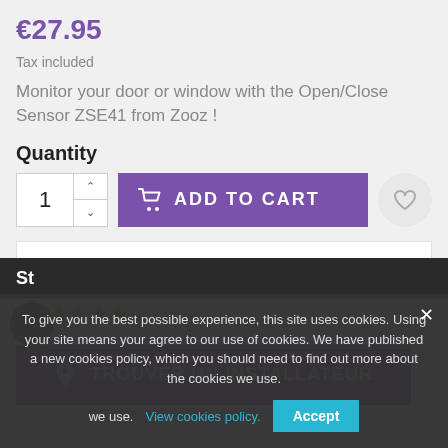€27.95
Tax included
Monitor your door or window with the Open/Close Sensor ZSE41 from Zooz !
Quantity
[Figure (screenshot): Quantity input with up/down arrows, ADD TO CART purple button with shopping cart icon, and a heart wishlist button]
[Figure (screenshot): White empty content box]
[Figure (screenshot): Purple TROUVER UN INSTALLATEUR button with location pin icon]
To give you the best possible experience, this site uses cookies. Using your site means your agree to our use of cookies. We have published a new cookies policy, which you should need to find out more about the cookies we use. View cookies policy. Accept